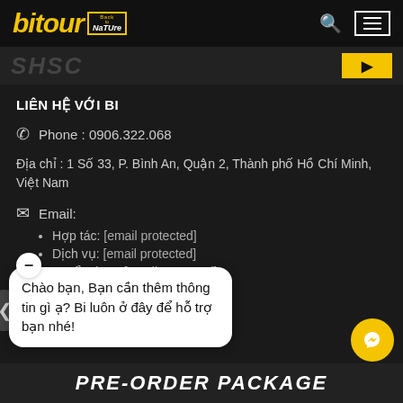[Figure (logo): Bitour 'Back to Nature' logo on black header bar with search and hamburger menu icons]
[Figure (screenshot): Partially visible dark banner strip with faded text and yellow button]
LIÊN HỆ VỚI BI
Phone : 0906.322.068
Địa chỉ : 1 Số 33, P. Bình An, Quận 2, Thành phố Hồ Chí Minh, Việt Nam
Email:
Hợp tác: [email protected]
Dịch vụ: [email protected]
Tuyển dụng:[email protected]
Chào bạn, Bạn cần thêm thông tin gì ạ? Bi luôn ở đây để hỗ trợ bạn nhé!
[Figure (screenshot): Bottom dark banner partially showing PRE-ORDER PACKAGE text]